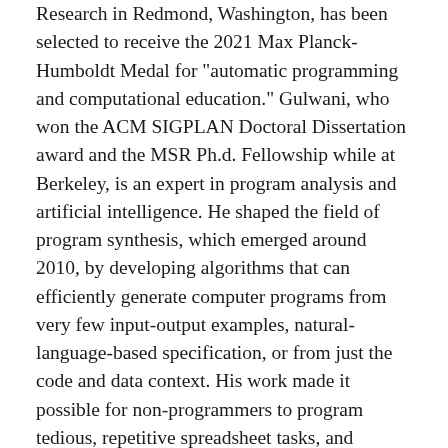Research in Redmond, Washington, has been selected to receive the 2021 Max Planck-Humboldt Medal for "automatic programming and computational education." Gulwani, who won the ACM SIGPLAN Doctoral Dissertation award and the MSR Ph.d. Fellowship while at Berkeley, is an expert in program analysis and artificial intelligence. He shaped the field of program synthesis, which emerged around 2010, by developing algorithms that can efficiently generate computer programs from very few input-output examples, natural-language-based specification, or from just the code and data context. His work made it possible for non-programmers to program tedious, repetitive spreadsheet tasks, and enabled productivity improvements for data scientists and developers for data wrangling and software engineering tasks. Recently, Gulwani has also been using the tools of program synthesis for computer-aided education of pupils and students. Starting from the automatic correction of learners' work in programming education, he further evolved this line of work to detect misunderstandings and give learning feedback and grades, also in subjects like mathematics and language